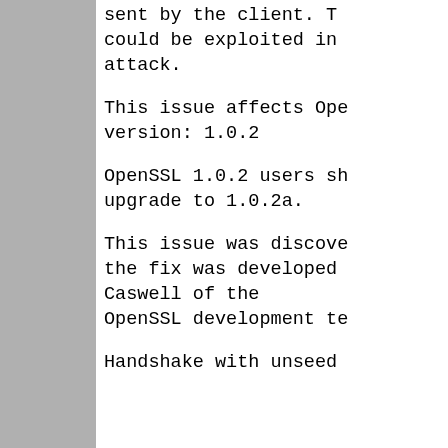sent by the client. This could be exploited in a attack.
This issue affects OpenSSL version: 1.0.2
OpenSSL 1.0.2 users should upgrade to 1.0.2a.
This issue was discovered and the fix was developed by Matt Caswell of the OpenSSL development team.
Handshake with unseeded